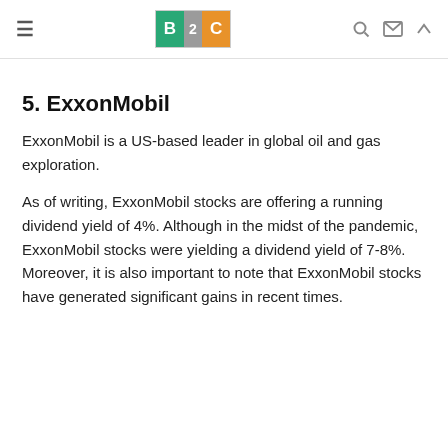B2C
5. ExxonMobil
ExxonMobil is a US-based leader in global oil and gas exploration.
As of writing, ExxonMobil stocks are offering a running dividend yield of 4%. Although in the midst of the pandemic, ExxonMobil stocks were yielding a dividend yield of 7-8%. Moreover, it is also important to note that ExxonMobil stocks have generated significant gains in recent times.